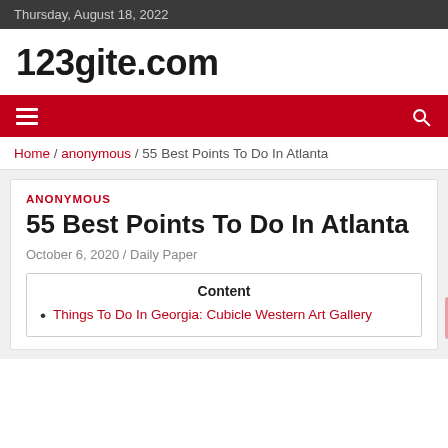Thursday, August 18, 2022
123gite.com
Home / anonymous / 55 Best Points To Do In Atlanta
ANONYMOUS
55 Best Points To Do In Atlanta
October 6, 2020 / Daily Paper
Content
Things To Do In Georgia: Cubicle Western Art Gallery